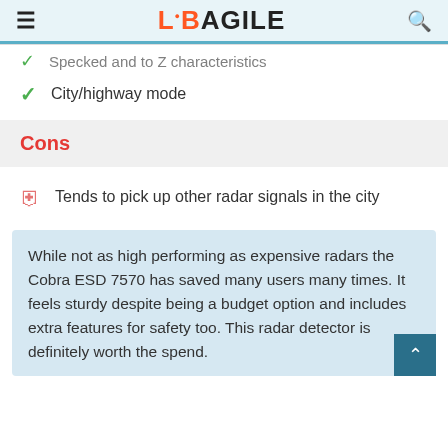LABAGILE
Specked and to Z characteristics
City/highway mode
Cons
Tends to pick up other radar signals in the city
While not as high performing as expensive radars the Cobra ESD 7570 has saved many users many times. It feels sturdy despite being a budget option and includes extra features for safety too. This radar detector is definitely worth the spend.